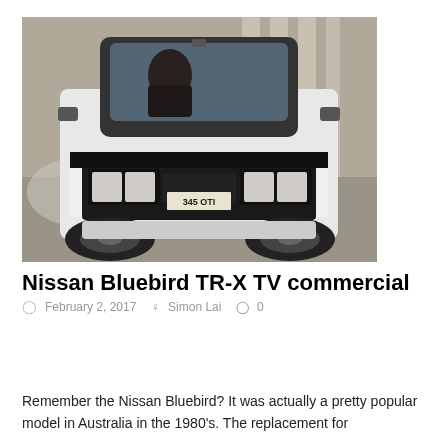[Figure (photo): Front view of a white Nissan Bluebird TR-X car driving on a road, taken from a TV commercial. The car has a license plate reading '945 OTI'. A driver is visible through the windshield. Background shows industrial or urban structures.]
Nissan Bluebird TR-X TV commercial
February 2, 2017   Simon Lai   0
Remember the Nissan Bluebird? It was actually a pretty popular model in Australia in the 1980's. The replacement for